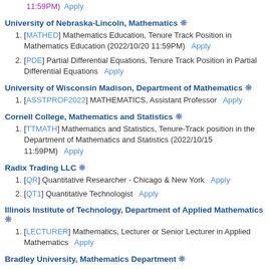[...] ... (11:59PM)  Apply
University of Nebraska-Lincoln, Mathematics ❋
[MATHED] Mathematics Education, Tenure Track Position in Mathematics Education (2022/10/20 11:59PM)   Apply
[PDE] Partial Differential Equations, Tenure Track Position in Partial Differential Equations   Apply
University of Wisconsin Madison, Department of Mathematics ❋
[ASSTPROF2022] MATHEMATICS, Assistant Professor   Apply
Cornell College, Mathematics and Statistics ❋
[TTMATH] Mathematics and Statistics, Tenure-Track position in the Department of Mathematics and Statistics (2022/10/15 11:59PM)   Apply
Radix Trading LLC ❋
[QR] Quantitative Researcher - Chicago & New York   Apply
[QT1] Quantitative Technologist   Apply
Illinois Institute of Technology, Department of Applied Mathematics ❋
[LECTURER] Mathematics, Lecturer or Senior Lecturer in Applied Mathematics   Apply
Bradley University, Mathematics Department ❋